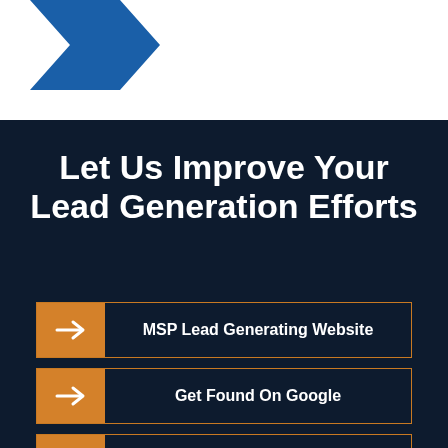[Figure (logo): Partial blue arrow/logo shape in top-left corner on white background]
Let Us Improve Your Lead Generation Efforts
MSP Lead Generating Website
Get Found On Google
Share Great Information
Create Strong Social Networks